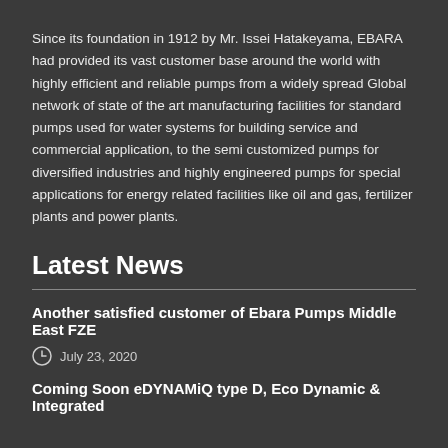Since its foundation in 1912 by Mr. Issei Hatakeyama, EBARA had provided its vast customer base around the world with highly efficient and reliable pumps from a widely spread Global network of state of the art manufacturing facilities for standard pumps used for water systems for building service and commercial application, to the semi customized pumps for diversified industries and highly engineered pumps for special applications for energy related facilities like oil and gas, fertilizer plants and power plants.
Latest News
Another satisfied customer of Ebara Pumps Middle East FZE
July 23, 2020
Coming Soon eDYNAMiQ type D, Eco Dynamic & Integrated